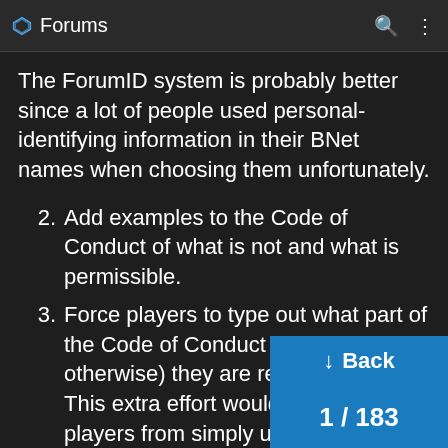Forums
The ForumID system is probably better since a lot of people used personal-identifying information in their BNet names when choosing them unfortunately.
2. Add examples to the Code of Conduct of what is not and what is permissible.
3. Force players to type out what part of the Code of Conduct (or why otherwise) they are reporting a post. This extra effort would dissuade players from simply using the report feature as a dislike button, and would allow moderators to engage reasons why players are reporting a post.
4. Allow players to continue sending